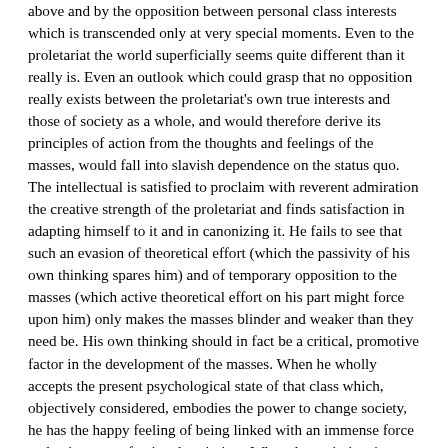above and by the opposition between personal class interests which is transcended only at very special moments. Even to the proletariat the world superficially seems quite different than it really is. Even an outlook which could grasp that no opposition really exists between the proletariat's own true interests and those of society as a whole, and would therefore derive its principles of action from the thoughts and feelings of the masses, would fall into slavish dependence on the status quo. The intellectual is satisfied to proclaim with reverent admiration the creative strength of the proletariat and finds satisfaction in adapting himself to it and in canonizing it. He fails to see that such an evasion of theoretical effort (which the passivity of his own thinking spares him) and of temporary opposition to the masses (which active theoretical effort on his part might force upon him) only makes the masses blinder and weaker than they need be. His own thinking should in fact be a critical, promotive factor in the development of the masses. When he wholly accepts the present psychological state of that class which, objectively considered, embodies the power to change society, he has the happy feeling of being linked with an immense force and enjoys a professional optimism. When the optimism is shattered in periods of crushing defeat,